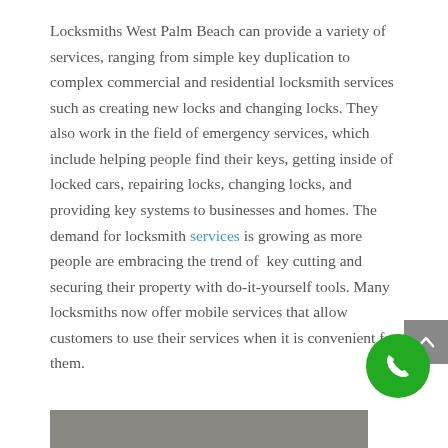Locksmiths West Palm Beach can provide a variety of services, ranging from simple key duplication to complex commercial and residential locksmith services such as creating new locks and changing locks. They also work in the field of emergency services, which include helping people find their keys, getting inside of locked cars, repairing locks, changing locks, and providing key systems to businesses and homes. The demand for locksmith services is growing as more people are embracing the trend of  key cutting and securing their property with do-it-yourself tools. Many locksmiths now offer mobile services that allow customers to use their services when it is convenient for them.
[Figure (other): Gray scroll-to-top button with upward chevron arrow on right side]
[Figure (other): Green circular phone/call button in bottom right corner]
[Figure (photo): Partial bottom image, appears to show a surface, cropped at page bottom]